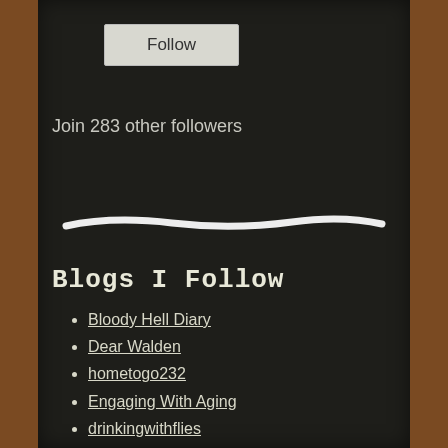Follow
Join 283 other followers
[Figure (illustration): A hand-drawn white chalk line across the chalkboard acting as a divider]
Blogs I Follow
Bloody Hell Diary
Dear Walden
hometogo232
Engaging With Aging
drinkingwithflies
Wild Yorkshire
The History Detective